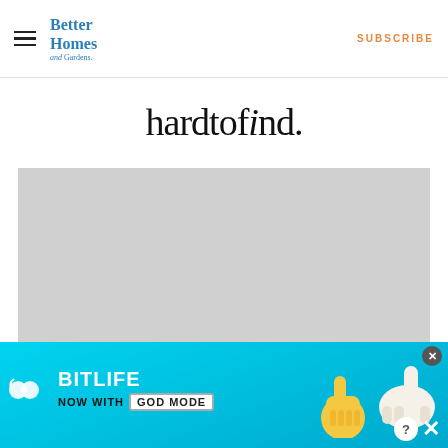Better Homes and Gardens | SUBSCRIBE
hardtofind.
[Figure (photo): Large light gray placeholder image box]
[Figure (advertisement): BitLife ad banner: NOW WITH GOD MODE, with cartoon hands and sperm icon on cyan/blue background]